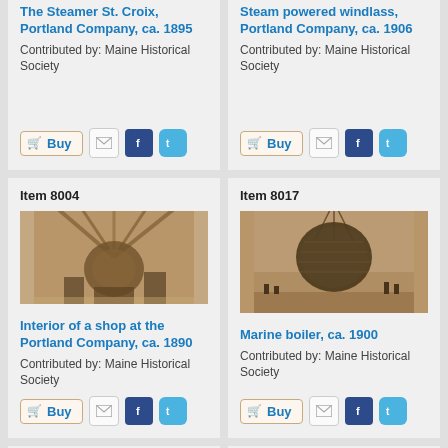The Steamer St. Croix, Portland Company, ca. 1895
Contributed by: Maine Historical Society
Steam powered windlass, Portland Company, ca. 1906
Contributed by: Maine Historical Society
Item 8004
[Figure (photo): Interior of a shop at the Portland Company, showing industrial machinery and wooden framework, sepia-toned photograph, ca. 1890]
Interior of a shop at the Portland Company, ca. 1890
Contributed by: Maine Historical Society
Item 8017
[Figure (photo): Marine boiler being lifted by crane with workers on dock, sepia-toned photograph, ca. 1900]
Marine boiler, ca. 1900
Contributed by: Maine Historical Society